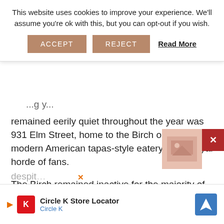This website uses cookies to improve your experience. We'll assume you're ok with this, but you can opt-out if you wish. ACCEPT  REJECT  Read More
remained eerily quiet throughout the year was 931 Elm Street, home to the Birch on Elm, a modern American tapas-style eatery with a loyal horde of fans.
The Birch remained inactive for the majority of the year, leading many to believe that their final service was behind them.
Fortunately, thanks to the dedication from Chef/Owner Nick Provencher, General Manager Jeremy LePage, Chef de Cuisine Matt Berry and the rest o… despit… c.